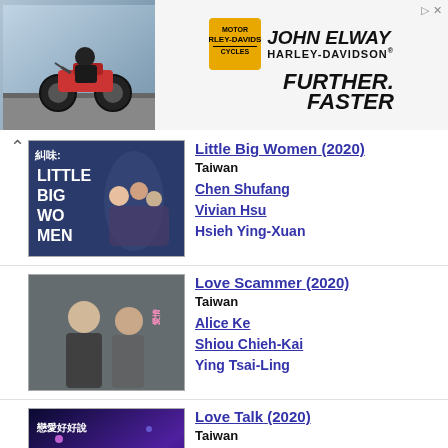[Figure (photo): Harley-Davidson advertisement banner featuring John Elway Harley-Davidson with motorcycle and 'Further. Faster.' tagline]
Little Big Women (2020)
Taiwan
Chen Shufang
Vivian Hsu
Hsieh Ying-Xuan
Love Scammer (2020)
Taiwan
Alice Ke
Shiou Chieh-Kai
Ying Tsai-Ling
Love Talk (2020)
Taiwan
Pipi Yao
Oscar Chiu
Kazunobu Mineta